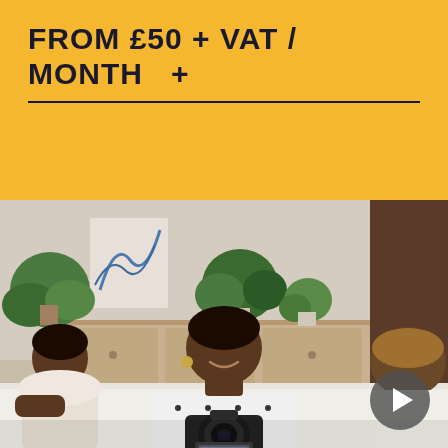FROM £50 + VAT / MONTH +
[Figure (photo): Three women seated around a white table in a bright office setting with plants and artwork in the background. A camera on a tripod is visible in the foreground filming them. A dark circular play/navigation button is in the bottom-right corner.]